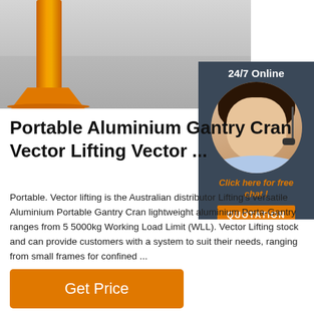[Figure (photo): Yellow aluminium portable gantry crane base/pole on a grey concrete floor inside an industrial building]
[Figure (photo): Customer service representative with headset, 24/7 Online chat panel with orange QUOTATION button]
Portable Aluminium Gantry Crane Vector Lifting Vector ...
Portable. Vector lifting is the Australian distributor Lifting's versatile Aluminium Portable Gantry Crane lightweight aluminium Porta-Gantry ranges from 5 5000kg Working Load Limit (WLL). Vector Lifting stock and can provide customers with a system to suit their needs, ranging from small frames for confined ...
Get Price